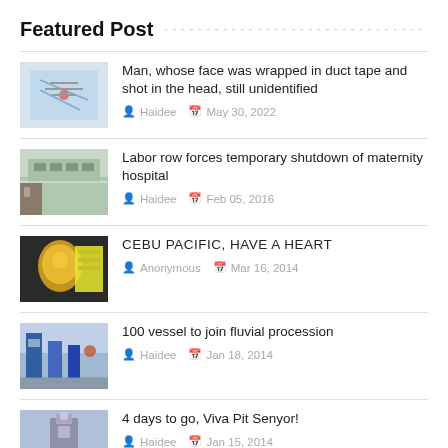Featured Post
Man, whose face was wrapped in duct tape and shot in the head, still unidentified | Haidee | May 30, 2022
Labor row forces temporary shutdown of maternity hospital | Haidee | Feb 05, 2016
CEBU PACIFIC, HAVE A HEART | Anonymous | Mar 16, 2014
100 vessel to join fluvial procession | Haidee | Jan 18, 2014
4 days to go, Viva Pit Senyor! | Haidee | Jan 15, 2014